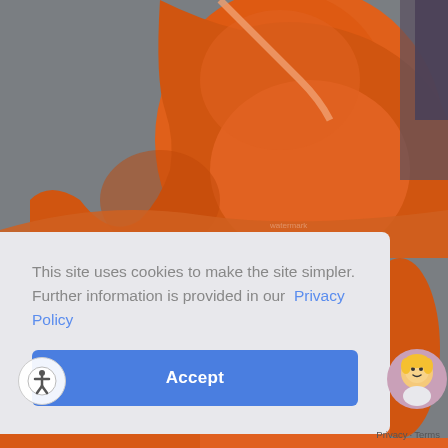[Figure (photo): Medical photo showing a side profile of a person's torso wearing an orange garment against a gray background, likely a pre/post-operative photo for a cosmetic or bariatric procedure.]
This site uses cookies to make the site simpler. Further information is provided in our  Privacy Policy
Accept
[Figure (illustration): Circular chat widget with illustrated blonde female avatar icon]
[Figure (illustration): Circular accessibility icon button (person with arms out in circle)]
Privacy · Terms